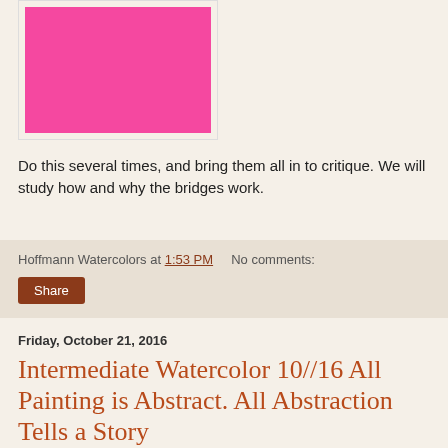[Figure (photo): A solid hot pink/magenta rectangular painting displayed on a light background]
Do this several times, and bring them all in to critique. We will study how and why the bridges work.
Hoffmann Watercolors at 1:53 PM   No comments:
Share
Friday, October 21, 2016
Intermediate Watercolor 10//16 All Painting is Abstract. All Abstraction Tells a Story